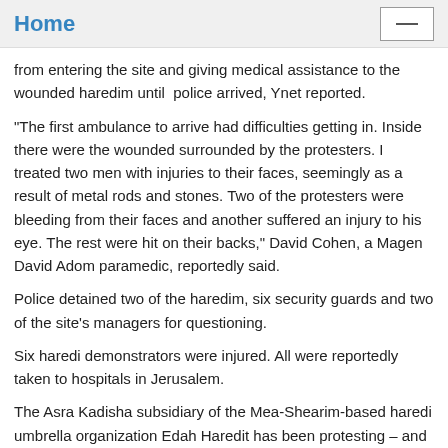Home
from entering the site and giving medical assistance to the wounded haredim until  police arrived, Ynet reported.
"The first ambulance to arrive had difficulties getting in. Inside there were the wounded surrounded by the protesters. I treated two men with injuries to their faces, seemingly as a result of metal rods and stones. Two of the protesters were bleeding from their faces and another suffered an injury to his eye. The rest were hit on their backs," David Cohen, a Magen David Adom paramedic, reportedly said.
Police detained two of the haredim, six security guards and two of the site's managers for questioning.
Six haredi demonstrators were injured. All were reportedly taken to hospitals in Jerusalem.
The Asra Kadisha subsidiary of the Mea-Shearim-based haredi umbrella organization Edah Haredit has been protesting – and rioting – at the site for the past month, allegedly to protect ancient Jewish graves at the site from being desecrated. Asra Kadisha thugs also allegedly physically attacked the son of a rabbi who opposed their protested and savagely